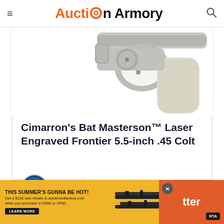Auction Armory
[Figure (photo): Partial view of a revolver handgun with light-colored grip, showing the trigger guard area, on a white background.]
Cimarron's Bat Masterson™ Laser Engraved Frontier 5.5-inch .45 Colt
Laura Burgess
April 9, 2021
[Figure (infographic): Advertisement banner: 'THIS SUMMER'S GUNNA BE HOT! Get a $100 web rebate to advancedtactical.com when you purchase a VR80 or VR82. LEARN MORE' with image of rifles and RTA logo.]